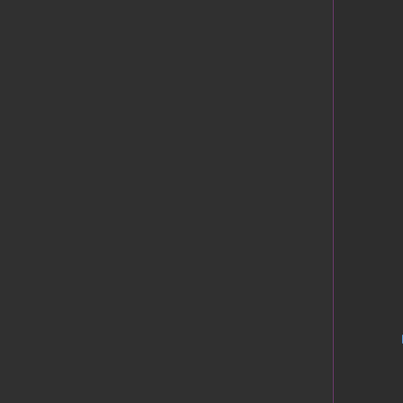[Figure (screenshot): Product card for VisuStella MZ 8 Waves Bundle plugin. Shows anime-style characters on a dark background with text 'VISUSTELLA MZ' and '8 WAVES BUNDLE'. Partially visible product info on the right showing '[Acc...' title, 'by Vi...' author, 'Bund...' text, '$100...' price, and a red 'Bu...' button.]
System
This is a plugin created for RPG Maker MZ.